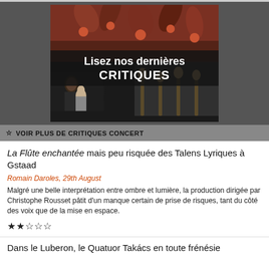[Figure (photo): Promotional banner collage showing performers doing acrobatics (top), an opera couple embracing (bottom left), and string musicians playing cellos (bottom right), with overlay text 'Lisez nos dernières CRITIQUES']
☆ VOIR PLUS DE CRITIQUES CONCERT
La Flûte enchantée mais peu risquée des Talens Lyriques à Gstaad
Romain Daroles, 29th August
Malgré une belle interprétation entre ombre et lumière, la production dirigée par Christophe Rousset pâtit d'un manque certain de prise de risques, tant du côté des voix que de la mise en espace.
★★☆☆☆
Dans le Luberon, le Quatuor Takács en toute frénésie